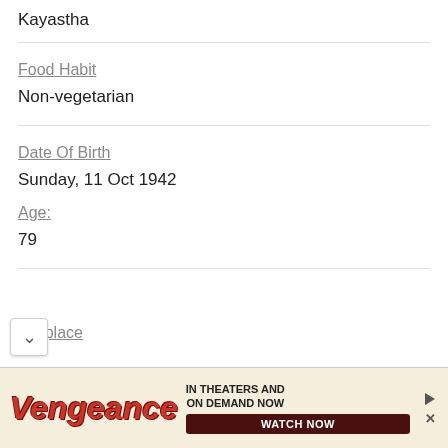Kayastha
Food Habit
Non-vegetarian
Date Of Birth
Sunday, 11 Oct 1942
Age:
79
Birthplace
[Figure (other): Advertisement banner for 'Vengeance' movie: 'IN THEATERS AND ON DEMAND NOW — WATCH NOW']